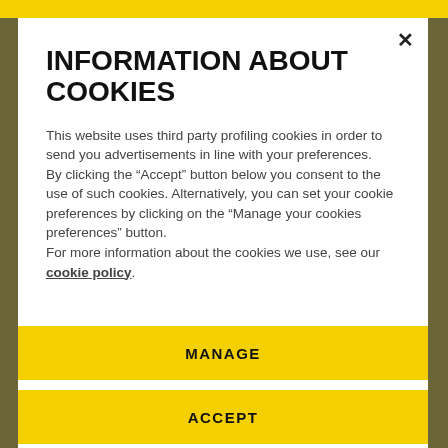INFORMATION ABOUT COOKIES
This website uses third party profiling cookies in order to send you advertisements in line with your preferences.
By clicking the “Accept” button below you consent to the use of such cookies. Alternatively, you can set your cookie preferences by clicking on the “Manage your cookies preferences” button.
For more information about the cookies we use, see our cookie policy.